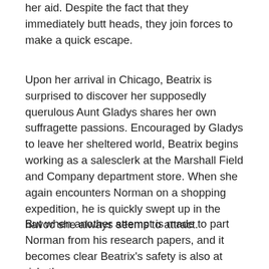her aid. Despite the fact that they immediately butt heads, they join forces to make a quick escape.
Upon her arrival in Chicago, Beatrix is surprised to discover her supposedly querulous Aunt Gladys shares her own suffragette passions. Encouraged by Gladys to leave her sheltered world, Beatrix begins working as a salesclerk at the Marshall Field and Company department store. When she again encounters Norman on a shopping expedition, he is quickly swept up in the havoc she always seems to attract.
But when another attempt is made to part Norman from his research papers, and it becomes clear Beatrix's safety is also at risk, they